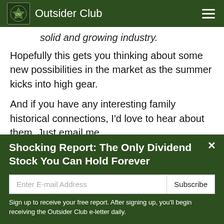Outsider Club
solid and growing industry.
Hopefully this gets you thinking about some new possibilities in the market as the summer kicks into high gear.
And if you have any interesting family historical connections, I'd love to hear about them. Just email me
Shocking Report: The Only Dividend Stock You Can Hold Forever
Enter E-mail Address
Subscribe
Sign up to receive your free report. After signing up, you'll begin receiving the Outsider Club e-letter daily.